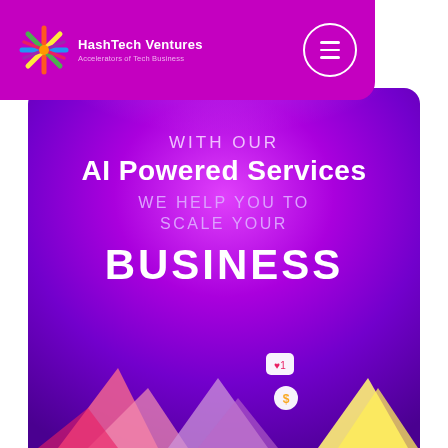[Figure (logo): HashTech Ventures logo with colorful star/asterisk icon and text 'HashTech Ventures - Accelerators of Tech Business']
[Figure (screenshot): Mobile app hero section with purple gradient background, text: WITH OUR / AI Powered Services / WE HELP YOU TO / SCALE YOUR / BUSINESS, and decorative business/social media icons illustration at bottom]